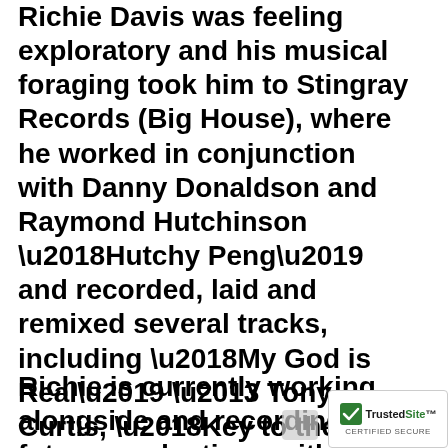Richie Davis was feeling exploratory and his musical foraging took him to Stingray Records (Big House), where he worked in conjunction with Danny Donaldson and Raymond Hutchinson ‘Hutchy Peng’ and recorded, laid and remixed several tracks, including ‘My God is Real’ – Tony Curtis, ‘Key to the City’ – Freddy McGregor, showing yet another dimension to his abilities.
Richie is currently working alongside and recording future productions with Winston